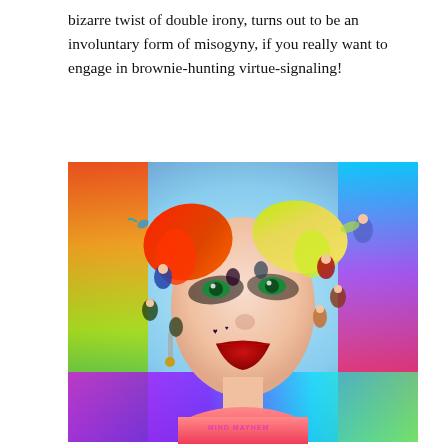bizarre twist of double irony, turns out to be an involuntary form of misogyny, if you really want to engage in brownie-hunting virtue-signaling!
[Figure (illustration): Movie poster for Birds of Prey featuring Harley Quinn (Margot Robbie) with colorful rainbow background, blonde and red/green pigtails, dramatic makeup, red lips, and various characters composited around her face. Text on shirt reads 'MIND OVER MAYHEM'.]